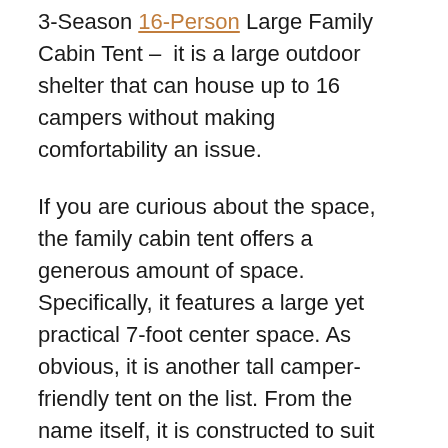3-Season 16-Person Large Family Cabin Tent – it is a large outdoor shelter that can house up to 16 campers without making comfortability an issue.
If you are curious about the space, the family cabin tent offers a generous amount of space. Specifically, it features a large yet practical 7-foot center space. As obvious, it is another tall camper-friendly tent on the list. From the name itself, it is constructed to suit the outdoor shelter needs of large groups of campers. When it fits your needs, you need to get to know this 3-room tent better.
Along with the best 3 room tents on this list,